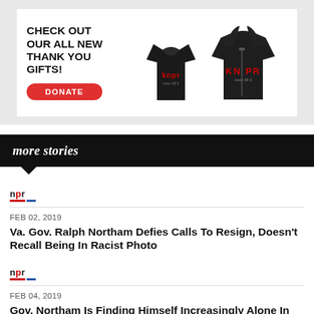[Figure (infographic): KNPR advertisement banner showing black t-shirt and hoodie with KNPR logo, with text 'CHECK OUT OUR ALL NEW THANK YOU GIFTS!' and a red DONATE button]
more stories
npr
FEB 02, 2019
Va. Gov. Ralph Northam Defies Calls To Resign, Doesn't Recall Being In Racist Photo
npr
FEB 04, 2019
Gov. Northam Is Finding Himself Increasingly Alone In Once-Supportive Virginia